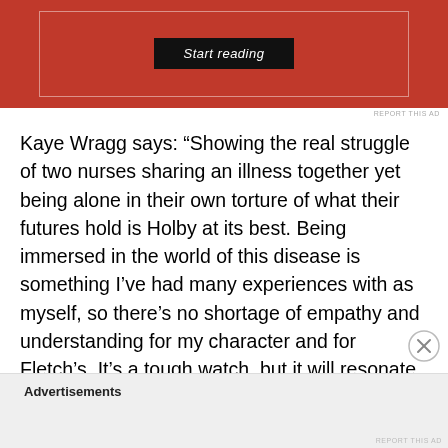[Figure (screenshot): Red advertisement banner with a 'Start reading' button on a dark background inside a bordered box]
REPORT THIS AD
Kaye Wragg says: “Showing the real struggle of two nurses sharing an illness together yet being alone in their own torture of what their futures hold is Holby at its best. Being immersed in the world of this disease is something I’ve had many experiences with as myself, so there’s no shortage of empathy and understanding for my character and for Fletch’s. It’s a tough watch, but it will resonate for many sufferers and their loved ones
Advertisements